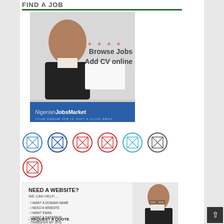FIND A JOB
[Figure (illustration): Nigerian Jobs Market advertisement banner showing a smiling woman in business attire holding a card with text 'Browse Jobs, Add CV online', with a blue footer bearing the NigerianJobsMarket logo and tagline 'YOUR DREAM JOB IS JUST A CLICK AWAY']
[Figure (infographic): Row of 7 circular social media icon buttons with broken image placeholders, in blue, red, light-blue, and dark border colors]
[Figure (illustration): Website advertisement banner reading 'NEED A WEBSITE? WE CAN HELP....' with a list of services: I WANT A DOMAIN NAME, I NEED A WEBSITE, I WANT EMAIL, I WANT A DATABASE, TRANSFER MY SITE, RELIABLE HOSTING, and a call to action 'REQUEST A QUOTE', with a woman in glasses on the right side]